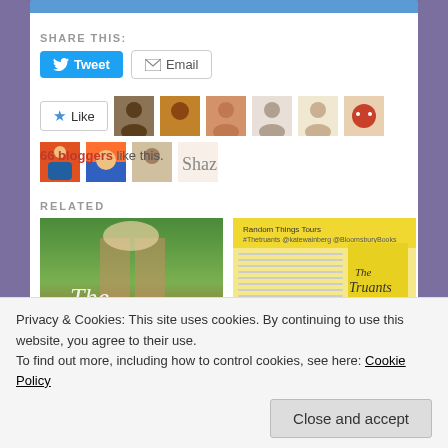SHARE THIS:
[Figure (screenshot): Tweet and Email social sharing buttons]
[Figure (screenshot): Like button with 8+ blogger avatar thumbnails]
66 bloggers like this.
RELATED
[Figure (photo): Book cover image for The Lost blog tour post]
#BLOGTOUR: The Lost
@EmilyGunnis
[Figure (screenshot): Blog tour schedule image for The Truants]
#BLOGTOUR: The
#Gifted
Privacy & Cookies: This site uses cookies. By continuing to use this website, you agree to their use.
To find out more, including how to control cookies, see here: Cookie Policy
Close and accept